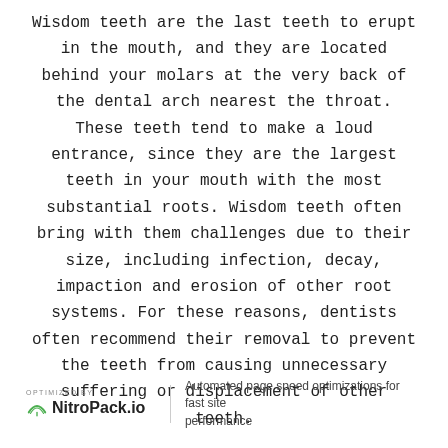Wisdom teeth are the last teeth to erupt in the mouth, and they are located behind your molars at the very back of the dental arch nearest the throat. These teeth tend to make a loud entrance, since they are the largest teeth in your mouth with the most substantial roots. Wisdom teeth often bring with them challenges due to their size, including infection, decay, impaction and erosion of other root systems. For these reasons, dentists often recommend their removal to prevent the teeth from causing unnecessary suffering or displacement of other teeth.
OPTIMIZED BY NitroPack.io | Automated page speed optimizations for fast site performance